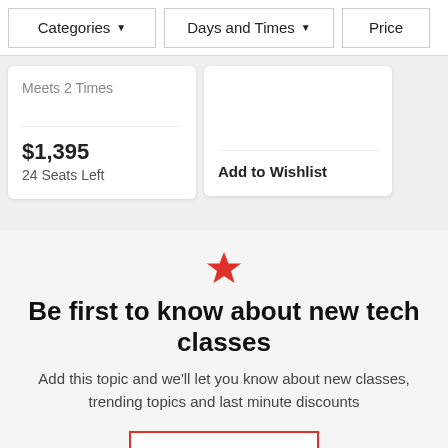Categories ▼
Days and Times ▼
Price
Meets 2 Times
$1,395
24 Seats Left
Add to Wishlist
Be first to know about new tech classes
Add this topic and we'll let you know about new classes, trending topics and last minute discounts
FOLLOW